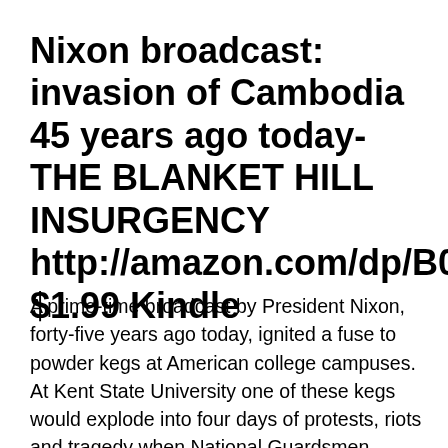Nixon broadcast: invasion of Cambodia 45 years ago today- THE BLANKET HILL INSURGENCY http://amazon.com/dp/B00UAO66WW $1.99 Kindle
A prime-time broadcast by President Nixon, forty-five years ago today, ignited a fuse to powder kegs at American college campuses.  At Kent State University one of these kegs would explode into four days of protests, riots and tragedy when National Guardsmen opened fire on thousands of protesters on Blanket Hill… killing four students.